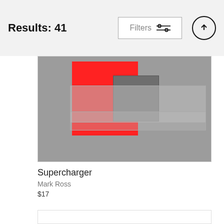Results: 41
Filters
[Figure (screenshot): Product listing card showing a 3D render with red rectangular shape on grey background]
Supercharger
Mark Ross
$17
[Figure (other): Empty product card placeholder]